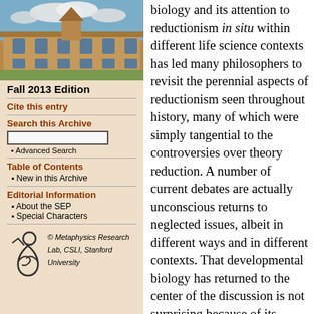[Figure (photo): Aerial or ground-level photograph of a stone university building (likely Stanford or Oxford style) with blue sky and clouds]
Fall 2013 Edition
Cite this entry
Search this Archive
Advanced Search
Table of Contents
New in this Archive
Editorial Information
About the SEP
Special Characters
[Figure (logo): Metaphysics Research Lab logo — stylized figure-8 or person symbol in black]
© Metaphysics Research Lab, CSLI, Stanford University
biology and its attention to reductionism in situ within different life science contexts has led many philosophers to revisit the perennial aspects of reductionism seen throughout history, many of which were simply tangential to the controversies over theory reduction. A number of current debates are actually unconscious returns to neglected issues, albeit in different ways and in different contexts. That developmental biology has returned to the center of the discussion is not surprising because of its enduring status as a biological topic inviting reflection on reductionist themes. The same